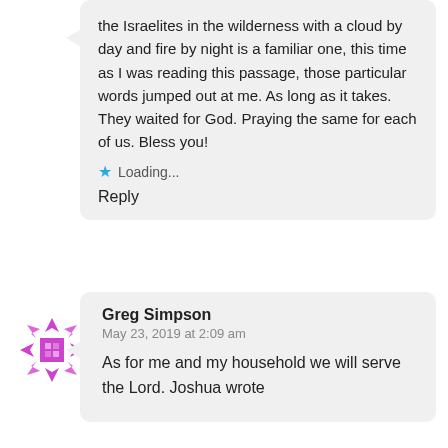the Israelites in the wilderness with a cloud by day and fire by night is a familiar one, this time as I was reading this passage, those particular words jumped out at me. As long as it takes. They waited for God. Praying the same for each of us. Bless you!
Loading...
Reply
[Figure (logo): Pink/magenta geometric snowflake or star-like avatar icon]
Greg Simpson
May 23, 2019 at 2:09 am
As for me and my household we will serve the Lord. Joshua wrote...